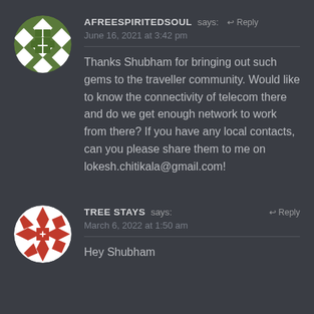[Figure (illustration): Green and white checkerboard/diamond pattern avatar circle for user AFREESPIRITEDSOUL]
AFREESPIRITEDSOUL says: ↩ Reply
June 16, 2021 at 3:42 pm
Thanks Shubham for bringing out such gems to the traveller community. Would like to know the connectivity of telecom there and do we get enough network to work from there? If you have any local contacts, can you please share them to me on lokesh.chitikala@gmail.com!
[Figure (illustration): Red and white star/diamond pattern avatar circle for user TREE STAYS]
TREE STAYS says: ↩ Reply
March 6, 2022 at 1:50 am
Hey Shubham